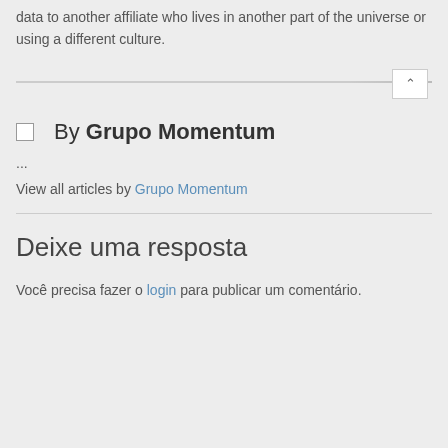data to another affiliate who lives in another part of the universe or using a different culture.
By Grupo Momentum
...
View all articles by Grupo Momentum
Deixe uma resposta
Você precisa fazer o login para publicar um comentário.